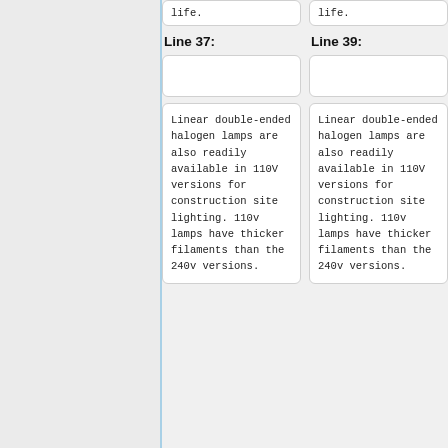life.
life.
Line 37:
Line 39:
Linear double-ended halogen lamps are also readily available in 110V versions for construction site lighting. 110v lamps have thicker filaments than the 240v versions.
Linear double-ended halogen lamps are also readily available in 110V versions for construction site lighting. 110v lamps have thicker filaments than the 240v versions.